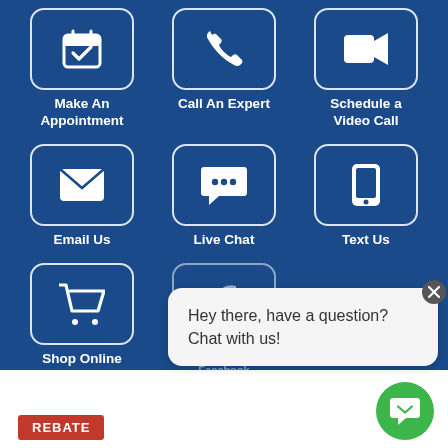[Figure (screenshot): Blue contact options grid showing: Make An Appointment (calendar icon), Call An Expert (phone icon), Schedule a Video Call (video camera icon), Email Us (envelope icon), Live Chat (chat bubble icon), Text Us (mobile phone icon), Shop Online (shopping cart icon), Find Us on Facebook (Facebook icon, partially obscured by chat popup). A live chat popup overlay reads 'Hey there, have a question? Chat with us!' with a green chat button. A red 'REBATE' button appears at the bottom left.]